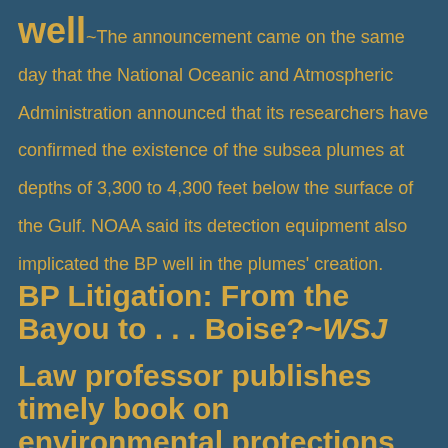well~The announcement came on the same day that the National Oceanic and Atmospheric Administration announced that its researchers have confirmed the existence of the subsea plumes at depths of 3,300 to 4,300 feet below the surface of the Gulf. NOAA said its detection equipment also implicated the BP well in the plumes' creation.
BP Litigation: From the Bayou to . . . Boise?~WSJ
Law professor publishes timely book on environmental protections
The Public Access Crusade of Carl Malamud~On the Media